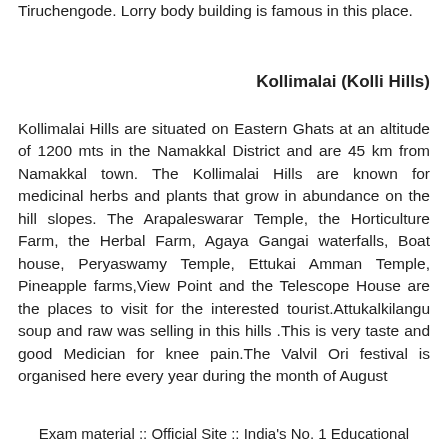Tiruchengode. Lorry body building is famous in this place.
Kollimalai (Kolli Hills)
Kollimalai Hills are situated on Eastern Ghats at an altitude of 1200 mts in the Namakkal District and are 45 km from Namakkal town. The Kollimalai Hills are known for medicinal herbs and plants that grow in abundance on the hill slopes. The Arapaleswarar Temple, the Horticulture Farm, the Herbal Farm, Agaya Gangai waterfalls, Boat house, Peryaswamy Temple, Ettukai Amman Temple, Pineapple farms,View Point and the Telescope House are the places to visit for the interested tourist.Attukalkilangu soup and raw was selling in this hills .This is very taste and good Medician for knee pain.The Valvil Ori festival is organised here every year during the month of August
Exam material :: Official Site :: India's No. 1 Educational